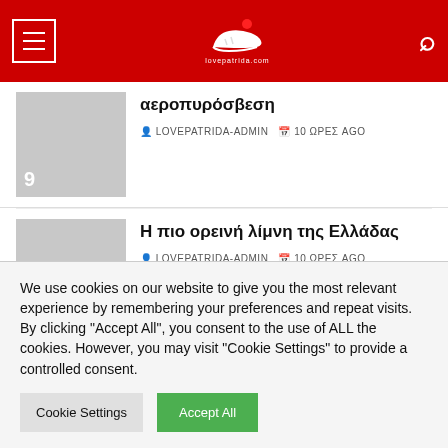lovepatrida.com
9 - αεροπυρόσβεση - LOVEPATRIDA-ADMIN - 10 ΩΡΕΣ AGO
10 - Η πιο ορεινή λίμνη της Ελλάδας - LOVEPATRIDA-ADMIN - 10 ΩΡΕΣ AGO
We use cookies on our website to give you the most relevant experience by remembering your preferences and repeat visits. By clicking "Accept All", you consent to the use of ALL the cookies. However, you may visit "Cookie Settings" to provide a controlled consent.
Cookie Settings   Accept All